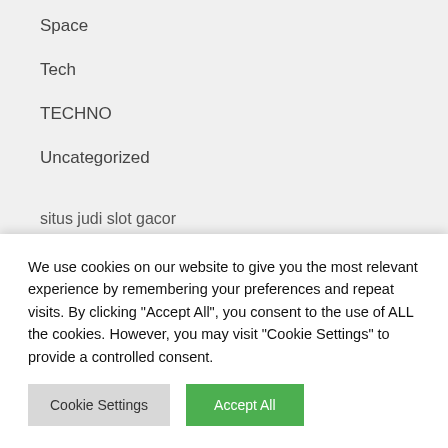Space
Tech
TECHNO
Uncategorized
situs judi slot gacor
YOU MAY HAVE MISSED
We use cookies on our website to give you the most relevant experience by remembering your preferences and repeat visits. By clicking "Accept All", you consent to the use of ALL the cookies. However, you may visit "Cookie Settings" to provide a controlled consent.
Cookie Settings
Accept All